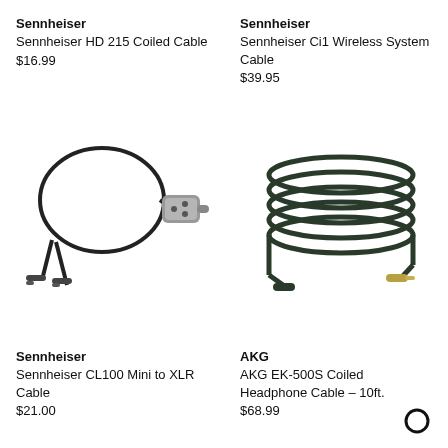Sennheiser
Sennheiser HD 215 Coiled Cable
$16.99
Sennheiser
Sennheiser Ci1 Wireless System Cable
$39.95
[Figure (photo): Sennheiser CL100 Mini to XLR Cable product photo showing two mini connectors and an XLR connector]
[Figure (photo): AKG EK-500S Coiled Headphone Cable 10ft product photo showing a dark green coiled cable with 3.5mm connector]
Sennheiser
Sennheiser CL100 Mini to XLR Cable
$21.00
AKG
AKG EK-500S Coiled Headphone Cable - 10ft.
$68.99